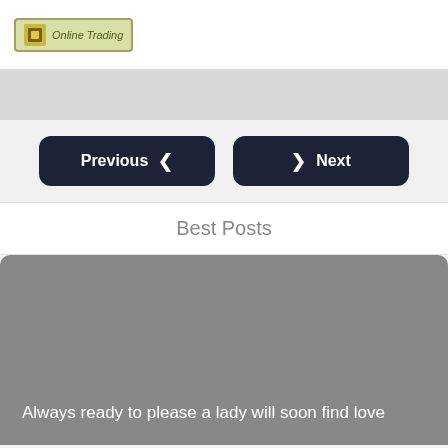Online Trading
[Figure (other): Gray banner/image area below header]
Previous   Next
Best Posts
Always ready to please a lady will soon find love